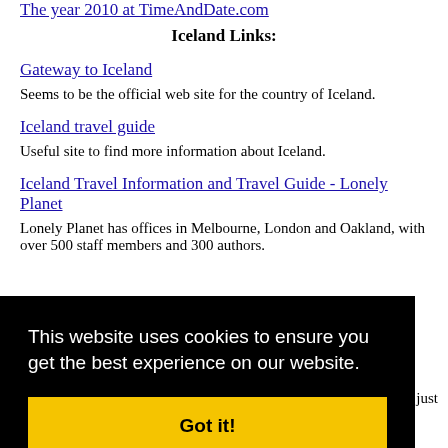The year 2010 at TimeAndDate.com
Iceland Links:
Gateway to Iceland
Seems to be the official web site for the country of Iceland.
Iceland travel guide
Useful site to find more information about Iceland.
Iceland Travel Information and Travel Guide - Lonely Planet
Lonely Planet has offices in Melbourne, London and Oakland, with over 500 staff members and 300 authors.
[Figure (screenshot): Cookie consent overlay on black background with text 'This website uses cookies to ensure you get the best experience on our website.' and a yellow 'Got it!' button]
hinn just west of River Nupsvotn of the Skeidararsandur alluvial plain.